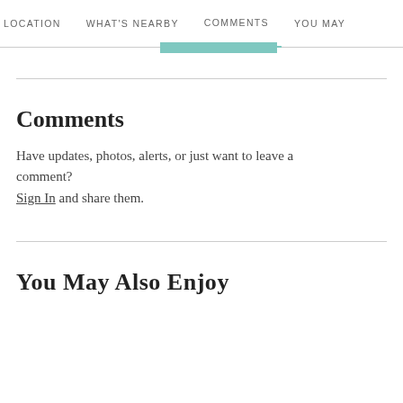LOCATION   WHAT'S NEARBY   COMMENTS   YOU MAY
Comments
Have updates, photos, alerts, or just want to leave a comment? Sign In and share them.
You May Also Enjoy